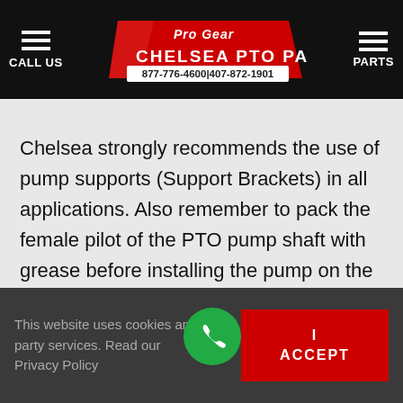Pro Gear Chelsea PTO Parts — CALL US | 877-776-4600 | 407-872-1901 | PARTS
Chelsea strongly recommends the use of pump supports (Support Brackets) in all applications. Also remember to pack the female pilot of the PTO pump shaft with grease before installing the pump on the PTO.

Chelsea PTOs are designed and built to match a
This website uses cookies and third party services. Read our Privacy Policy